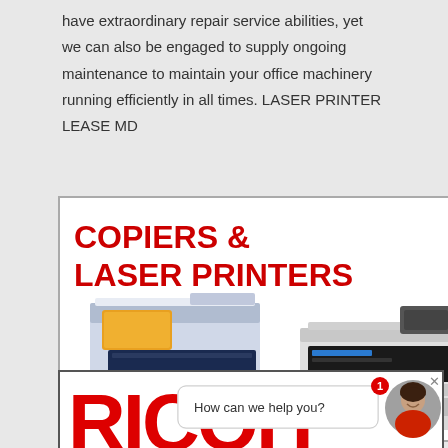have extraordinary repair service abilities, yet we can also be engaged to supply ongoing maintenance to maintain your office machinery running efficiently in all times. LASER PRINTER LEASE MD
[Figure (photo): Advertisement image showing two office copiers/laser printers (a large blue multifunction Xerox copier and a smaller black laser printer) with red bold text reading 'COPIERS & LASER PRINTERS' on white background with gray border]
[Figure (screenshot): Ricoh brand advertisement showing partial red RICOH logo text at bottom, with a chat bubble overlay saying 'How can we help you?' and a circular avatar of a smiling woman wearing red, with a notification badge showing '1']